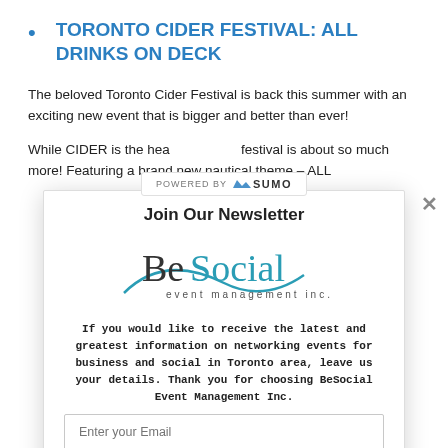TORONTO CIDER FESTIVAL: ALL DRINKS ON DECK
The beloved Toronto Cider Festival is back this summer with an exciting new event that is bigger and better than ever!
While CIDER is the heart of the show, the festival is about so much more! Featuring a brand new nautical theme – ALL
[Figure (logo): POWERED BY SUMO bar overlay]
Join Our Newsletter
[Figure (logo): BeSocial event management inc. logo]
If you would like to receive the latest and greatest information on networking events for business and social in Toronto area, leave us your details. Thank you for choosing BeSocial Event Management Inc.
Enter your Email
Subscribe Now